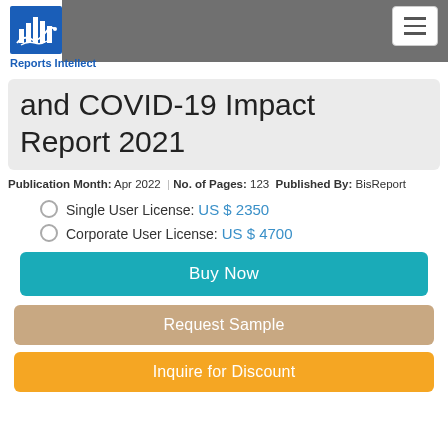Reports Intellect
and COVID-19 Impact Report 2021
Publication Month: Apr 2022 | No. of Pages: 123 Published By: BisReport
Single User License: US $ 2350
Corporate User License: US $ 4700
Buy Now
Request Sample
Inquire for Discount